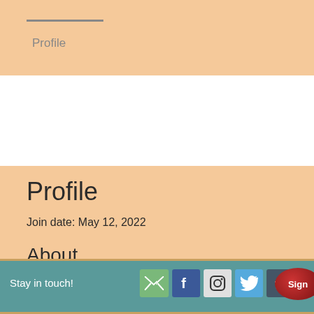Profile
Profile
Join date: May 12, 2022
About
Dbal laravel, trenbolone ncbi
Dbal laravel, trenbolone ncbi - Buy anabolic steroids online
Stay in touch!  Sign